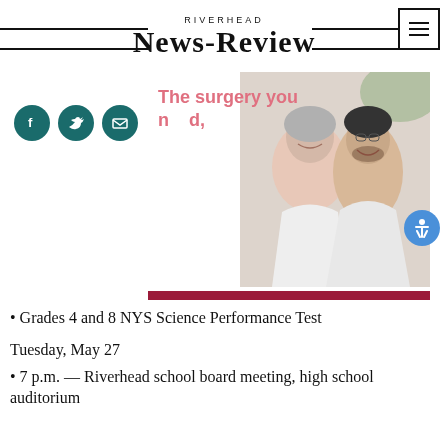RIVERHEAD NEWS-REVIEW
[Figure (photo): Advertisement banner with pink text 'The surgery you need,' over a photo of two smiling people, with a dark red bar at the bottom. Social media icons (Facebook, Twitter, Email) visible on the left.]
· Grades 4 and 8 NYS Science Performance Test
Tuesday, May 27
· 7 p.m. — Riverhead school board meeting, high school auditorium